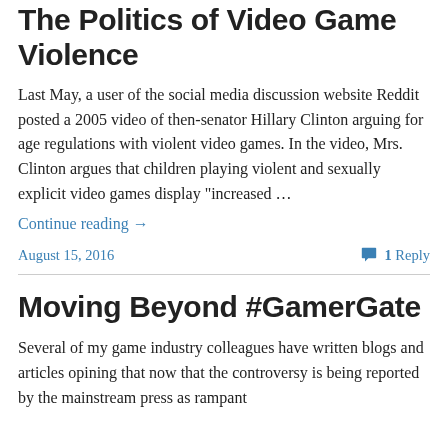The Politics of Video Game Violence
Last May, a user of the social media discussion website Reddit posted a 2005 video of then-senator Hillary Clinton arguing for age regulations with violent video games. In the video, Mrs. Clinton argues that children playing violent and sexually explicit video games display “increased …
Continue reading →
August 15, 2016
1 Reply
Moving Beyond #GamerGate
Several of my game industry colleagues have written blogs and articles opining that now that the controversy is being reported by the mainstream press as rampant